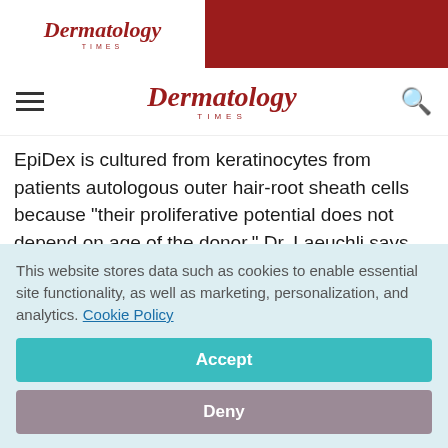Dermatology Times
Dermatology Times
EpiDex is cultured from keratinocytes from patients autologous outer hair-root sheath cells because "their proliferative potential does not depend on age of the donor," Dr. Laeuchli says. "The product is delivered on silicone sheets, which are placed on the wound in nonoverlapping fashion. Then the wound is dressed with
This website stores data such as cookies to enable essential site functionality, as well as marketing, personalization, and analytics. Cookie Policy
Accept
Deny